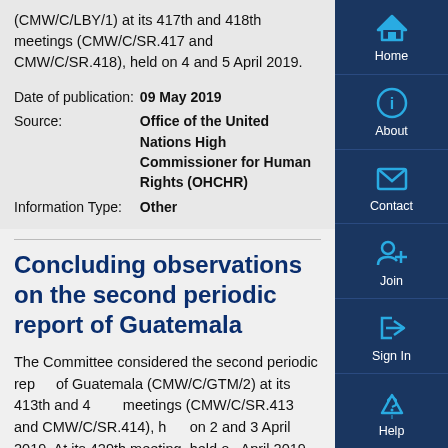(CMW/C/LBY/1) at its 417th and 418th meetings (CMW/C/SR.417 and CMW/C/SR.418), held on 4 and 5 April 2019.
Date of publication: 09 May 2019
Source: Office of the United Nations High Commissioner for Human Rights (OHCHR)
Information Type: Other
Concluding observations on the second periodic report of Guatemala
The Committee considered the second periodic report of Guatemala (CMW/C/GTM/2) at its 413th and 414th meetings (CMW/C/SR.413 and CMW/C/SR.414), held on 2 and 3 April 2019. At its 429th meeting, held on April 2019, it adopted the present concluding observations.
[Figure (screenshot): Right sidebar navigation with Home, About, Contact, Join, Sign In, and Help buttons on a dark navy background with cyan icons]